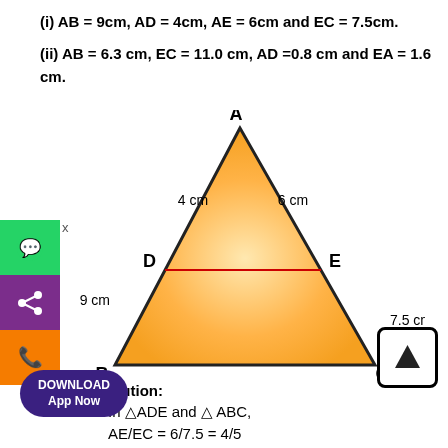(i) AB = 9cm, AD = 4cm, AE = 6cm and EC = 7.5cm.
(ii) AB = 6.3 cm, EC = 11.0 cm, AD =0.8 cm and EA = 1.6 cm.
[Figure (engineering-diagram): Triangle ABC with a horizontal line DE parallel to BC, dividing the triangle. Vertex A at top, B at bottom-left, C at bottom-right. D is on AB, E is on AC. Labels: AD=4cm on left side of upper triangle, AE=6cm on right side of upper triangle, AB=9cm along left side, EC=7.5cm along right side. Red line from D to E. Triangle filled with orange gradient.]
Solution:
In △ADE and △ABC,
AE/EC = 6/7.5 = 4/5